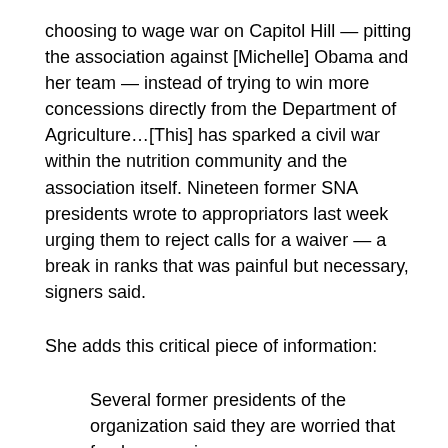choosing to wage war on Capitol Hill — pitting the association against [Michelle] Obama and her team — instead of trying to win more concessions directly from the Department of Agriculture…[This] has sparked a civil war within the nutrition community and the association itself. Nineteen former SNA presidents wrote to appropriators last week urging them to reject calls for a waiver — a break in ranks that was painful but necessary, signers said.
She adds this critical piece of information:
Several former presidents of the organization said they are worried that food companies